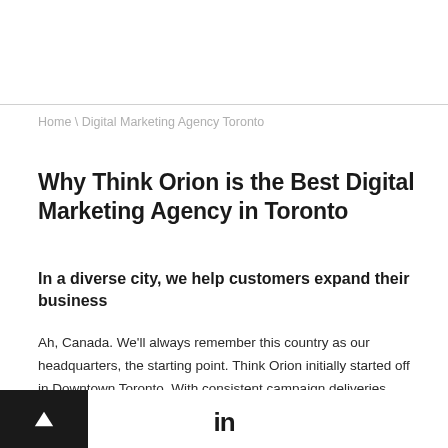Home \ Digital Marketing Agency Toronto
Why Think Orion is the Best Digital Marketing Agency in Toronto
In a diverse city, we help customers expand their business
Ah, Canada. We'll always remember this country as our headquarters, the starting point. Think Orion initially started off in Downtown Toronto. With consistent campaign deliveries, the business grew over time and continues to expand – we haven't looked back since.
▲  in